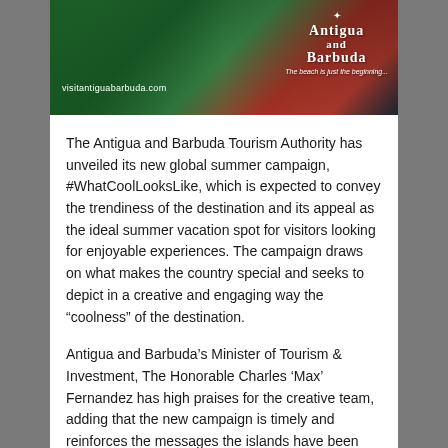[Figure (photo): Antigua and Barbuda tourism banner advertisement showing a person on a motorcycle in a tropical setting with the visitantiguabarbuda.com URL and the Antigua and Barbuda logo with tagline 'The beach is just the beginning...']
The Antigua and Barbuda Tourism Authority has unveiled its new global summer campaign, #WhatCoolLooksLike, which is expected to convey the trendiness of the destination and its appeal as the ideal summer vacation spot for visitors looking for enjoyable experiences. The campaign draws on what makes the country special and seeks to depict in a creative and engaging way the “coolness” of the destination.
Antigua and Barbuda’s Minister of Tourism & Investment, The Honorable Charles ‘Max’ Fernandez has high praises for the creative team, adding that the new campaign is timely and reinforces the messages the islands have been promoting in recent years. “Antigua and Barbuda's weather during the summer is so much cooler than in other regions, our beaches are serene, and while there are numerous